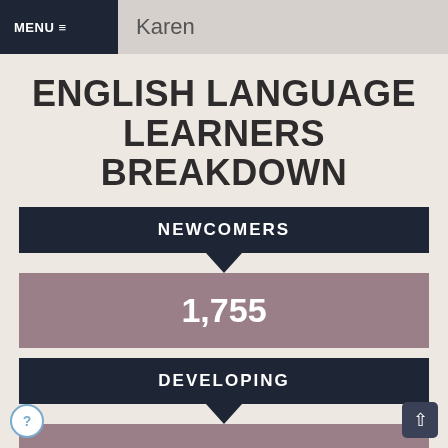MENU ≡   Karen
ENGLISH LANGUAGE LEARNERS BREAKDOWN
NEWCOMERS
1,755
DEVELOPING
1,586